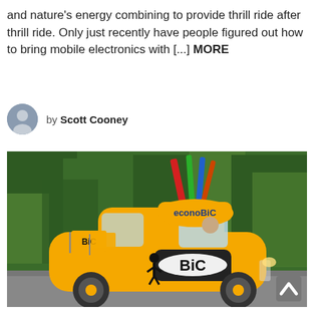and nature's energy combining to provide thrill ride after thrill ride. Only just recently have people figured out how to bring mobile electronics with [...] MORE
by Scott Cooney
[Figure (photo): A bright yellow BIC-branded small car with oversized pen props on the roof and BIC flags on the front, driving on a road with green forest in the background.]